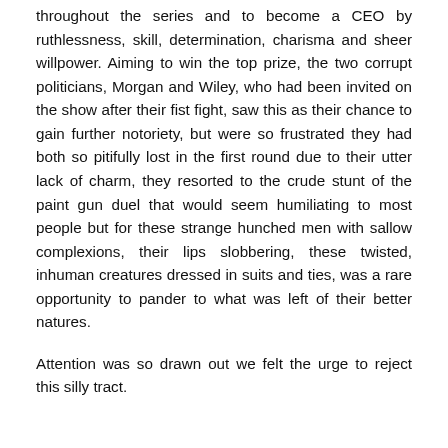throughout the series and to become a CEO by ruthlessness, skill, determination, charisma and sheer willpower. Aiming to win the top prize, the two corrupt politicians, Morgan and Wiley, who had been invited on the show after their fist fight, saw this as their chance to gain further notoriety, but were so frustrated they had both so pitifully lost in the first round due to their utter lack of charm, they resorted to the crude stunt of the paint gun duel that would seem humiliating to most people but for these strange hunched men with sallow complexions, their lips slobbering, these twisted, inhuman creatures dressed in suits and ties, was a rare opportunity to pander to what was left of their better natures.
Attention was so drawn out we felt the urge to reject this silly tract.